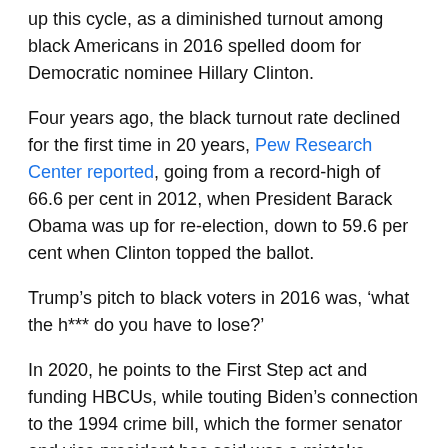up this cycle, as a diminished turnout among black Americans in 2016 spelled doom for Democratic nominee Hillary Clinton.
Four years ago, the black turnout rate declined for the first time in 20 years, Pew Research Center reported, going from a record-high of 66.6 per cent in 2012, when President Barack Obama was up for re-election, down to 59.6 per cent when Clinton topped the ballot.
Trump’s pitch to black voters in 2016 was, ‘what the h*** do you have to lose?’
In 2020, he points to the First Step act and funding HBCUs, while touting Biden’s connection to the 1994 crime bill, which the former senator and vice president has said was a mistake.
Biden and the Democrats have pointed to Trump’s dog